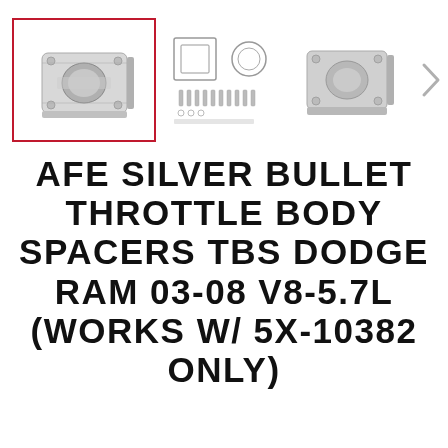[Figure (photo): Three product images of AFE Silver Bullet Throttle Body Spacer shown as thumbnails. First image (selected, highlighted with red border) shows the silver aluminum throttle body spacer part from an angle. Second image shows the spacer kit with gaskets and hardware. Third image shows the spacer from another angle. A right-arrow navigation chevron is at the far right.]
AFE SILVER BULLET THROTTLE BODY SPACERS TBS DODGE RAM 03-08 V8-5.7L (WORKS W/ 5X-10382 ONLY)